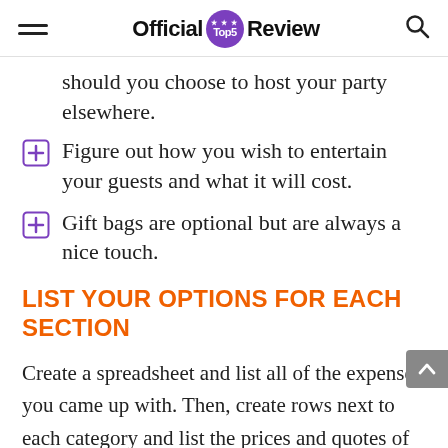Official Top5 Review
should you choose to host your party elsewhere.
Figure out how you wish to entertain your guests and what it will cost.
Gift bags are optional but are always a nice touch.
LIST YOUR OPTIONS FOR EACH SECTION
Create a spreadsheet and list all of the expenses you came up with. Then, create rows next to each category and list the prices and quotes of different businesses in